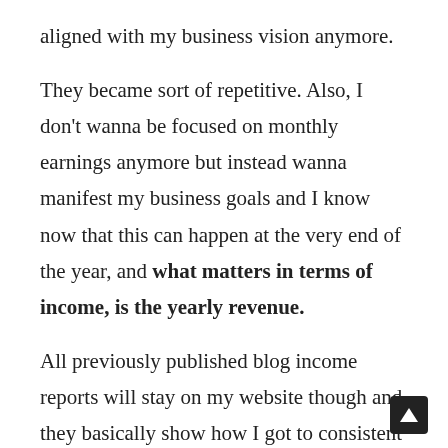aligned with my business vision anymore.
They became sort of repetitive. Also, I don't wanna be focused on monthly earnings anymore but instead wanna manifest my business goals and I know now that this can happen at the very end of the year, and what matters in terms of income, is the yearly revenue.
All previously published blog income reports will stay on my website though and they basically show how I got to consistent $5K months.
What I'll continue publishing is the yearly report